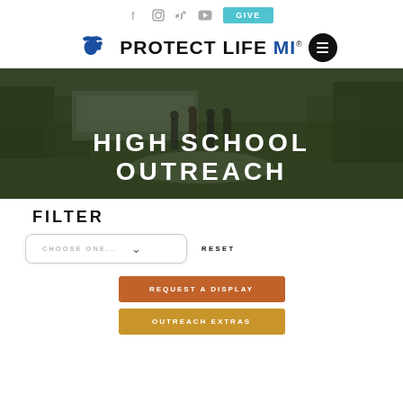Social icons: Facebook, Instagram, TikTok, YouTube | GIVE button
[Figure (logo): Protect Life MI logo with Michigan mitten shape in blue and a black circle menu icon]
[Figure (photo): Outdoor photo of high school students walking on a campus path with trees and greenery, overlaid with text HIGH SCHOOL OUTREACH]
FILTER
CHOOSE ONE...   RESET
REQUEST A DISPLAY
OUTREACH EXTRAS